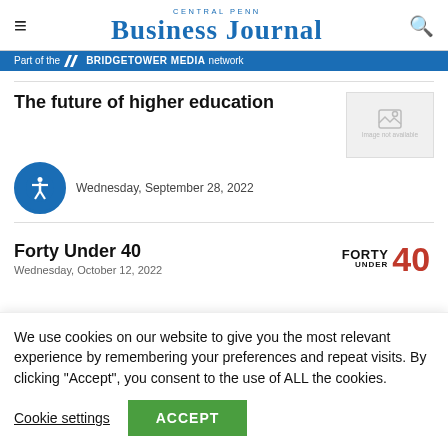Central Penn Business Journal
Part of the BRIDGETOWER MEDIA network
The future of higher education
Wednesday, September 28, 2022
[Figure (illustration): Image not available placeholder thumbnail]
Forty Under 40
[Figure (logo): Forty Under 40 logo with red 40]
We use cookies on our website to give you the most relevant experience by remembering your preferences and repeat visits. By clicking “Accept”, you consent to the use of ALL the cookies.
Cookie settings
ACCEPT